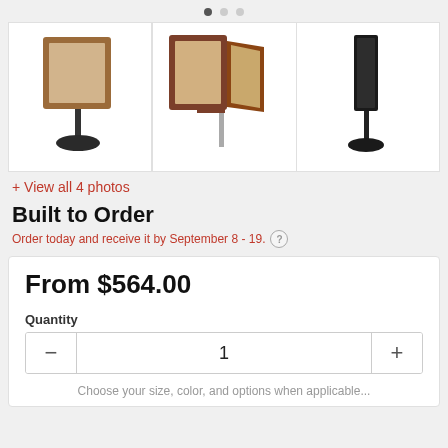[Figure (screenshot): Three product photos of bulletin board floor stands with cork board panels on poles with round bases. Left: single-panel framed corkboard on black stand, medium: open double-panel view of framed wood corkboards, right: dark modern slim display on black stand.]
+ View all 4 photos
Built to Order
Order today and receive it by September 8 - 19.
From $564.00
Quantity
1
Choose your size, color, and options when applicable...